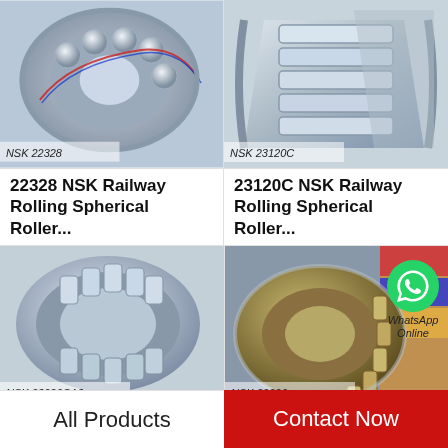[Figure (photo): NSK 22328 spherical roller bearing cutaway view showing internal ball bearings and races, silver metallic, labeled NSK 22328]
22328 NSK Railway Rolling Spherical Roller...
[Figure (photo): NSK 23120C spherical roller bearing, tapered multi-row design, silver metallic, labeled NSK 23120C]
23120C NSK Railway Rolling Spherical Roller...
[Figure (photo): NSK 23026CA3 double-row spherical roller bearing, metallic silver, labeled NSK 23026CA3]
[Figure (photo): NSK 22226 spherical roller bearing with WhatsApp Online overlay icon, gold and silver tones, labeled NSK 22226]
All Products    Contact Now